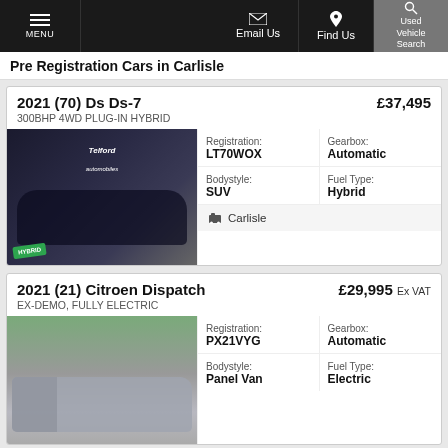MENU | Email Us | Find Us | Used Vehicle Search
Pre Registration Cars in Carlisle
2021 (70) Ds Ds-7  £37,495
300BHP 4WD PLUG-IN HYBRID
[Figure (photo): Dark blue DS DS-7 SUV in front of Telford Automobiles branded backdrop, with green HYBRID badge in lower left corner]
| Registration: | Gearbox: | Bodystyle: | Fuel Type: |
| --- | --- | --- | --- |
| LT70WOX | Automatic | SUV | Hybrid |
Carlisle
2021 (21) Citroen Dispatch  £29,995 Ex VAT
EX-DEMO, FULLY ELECTRIC
[Figure (photo): Silver/grey Citroen Dispatch panel van photographed outdoors with trees in background]
| Registration: | Gearbox: | Bodystyle: | Fuel Type: |
| --- | --- | --- | --- |
| PX21VYG | Automatic | Panel Van | Electric |